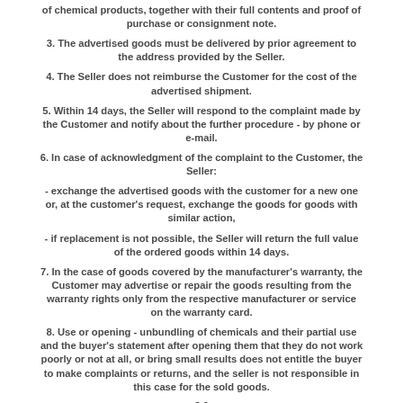of chemical products, together with their full contents and proof of purchase or consignment note.
3. The advertised goods must be delivered by prior agreement to the address provided by the Seller.
4. The Seller does not reimburse the Customer for the cost of the advertised shipment.
5. Within 14 days, the Seller will respond to the complaint made by the Customer and notify about the further procedure - by phone or e-mail.
6. In case of acknowledgment of the complaint to the Customer, the Seller:
- exchange the advertised goods with the customer for a new one or, at the customer's request, exchange the goods for goods with similar action,
- if replacement is not possible, the Seller will return the full value of the ordered goods within 14 days.
7. In the case of goods covered by the manufacturer's warranty, the Customer may advertise or repair the goods resulting from the warranty rights only from the respective manufacturer or service on the warranty card.
8. Use or opening - unbundling of chemicals and their partial use and the buyer's statement after opening them that they do not work poorly or not at all, or bring small results does not entitle the buyer to make complaints or returns, and the seller is not responsible in this case for the sold goods.
§ 6